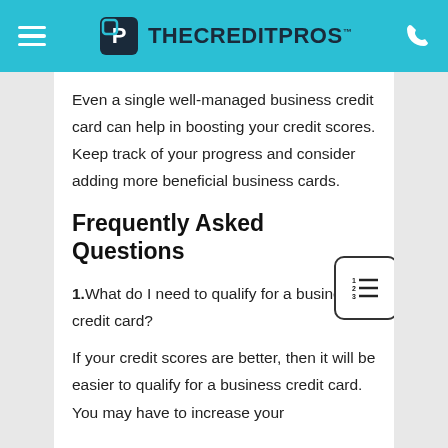THECREDITPROS
Even a single well-managed business credit card can help in boosting your credit scores. Keep track of your progress and consider adding more beneficial business cards.
Frequently Asked Questions
1.What do I need to qualify for a business credit card?
If your credit scores are better, then it will be easier to qualify for a business credit card. You may have to increase your